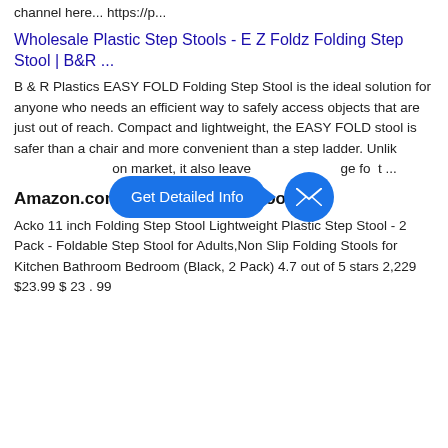channel here... https://p...
Wholesale Plastic Step Stools - E Z Foldz Folding Step Stool | B&R ...
B & R Plastics EASY FOLD Folding Step Stool is the ideal solution for anyone who needs an efficient way to safely access objects that are just out of reach. Compact and lightweight, the EASY FOLD stool is safer than a chair and more convenient than a step ladder. Unlik… on market, it also leave… ge fo…t ...
[Figure (infographic): Blue pill-shaped button with text 'Get Detailed Info' and an arrow pointing to a blue circle with an envelope/email icon]
Amazon.com: folding plastic stool
Acko 11 inch Folding Step Stool Lightweight Plastic Step Stool - 2 Pack - Foldable Step Stool for Adults,Non Slip Folding Stools for Kitchen Bathroom Bedroom (Black, 2 Pack) 4.7 out of 5 stars 2,229 $23.99 $ 23 . 99